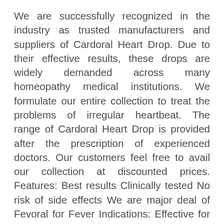We are successfully recognized in the industry as trusted manufacturers and suppliers of Cardoral Heart Drop. Due to their effective results, these drops are widely demanded across many homeopathy medical institutions. We formulate our entire collection to treat the problems of irregular heartbeat. The range of Cardoral Heart Drop is provided after the prescription of experienced doctors. Our customers feel free to avail our collection at discounted prices. Features: Best results Clinically tested No risk of side effects We are major deal of Fevoral for Fever Indications: Effective for temperatures with body ache, flue, headoche, sneezing watering from eyes and nose, infection in respiratory tract etc. Effective for irregular beatings of